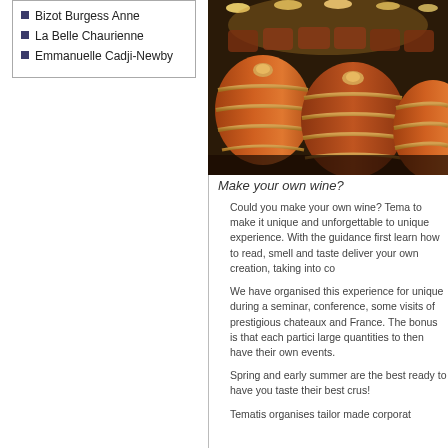Bizot Burgess Anne
La Belle Chaurienne
Emmanuelle Cadji-Newby
[Figure (photo): Wine barrels in a cellar with warm golden lighting; wooden barrels stacked showing tops and sides]
Make your own wine?
Could you make your own wine? Tema to make it unique and unforgettable to unique experience. With the guidance first learn how to read, smell and taste deliver your own creation, taking into co
We have organised this experience for unique during a seminar, conference, some visits of prestigious chateaux and France. The bonus is that each partici large quantities to then have their own events.
Spring and early summer are the best ready to have you taste their best crus!
Tematis organises tailor made corporat